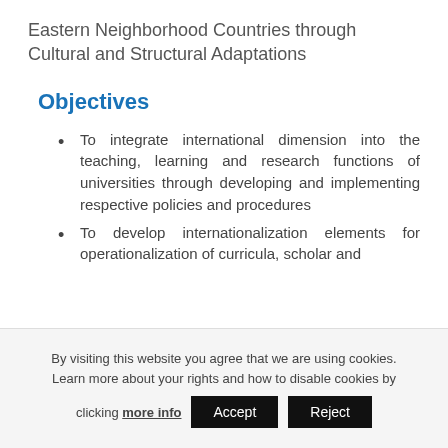Eastern Neighborhood Countries through Cultural and Structural Adaptations
Objectives
To integrate international dimension into the teaching, learning and research functions of universities through developing and implementing respective policies and procedures
To develop internationalization elements for operationalization of curricula, scholar and
By visiting this website you agree that we are using cookies. Learn more about your rights and how to disable cookies by clicking more info Accept Reject